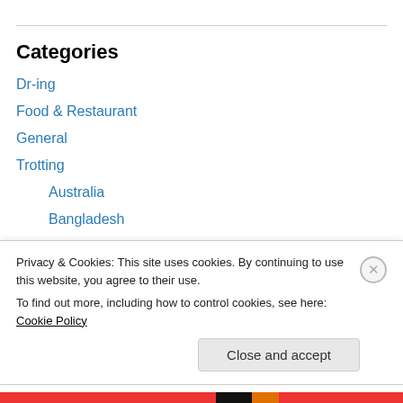Categories
Dr-ing
Food & Restaurant
General
Trotting
Australia
Bangladesh
CA
Marathons
Northeast
Privacy & Cookies: This site uses cookies. By continuing to use this website, you agree to their use.
To find out more, including how to control cookies, see here: Cookie Policy